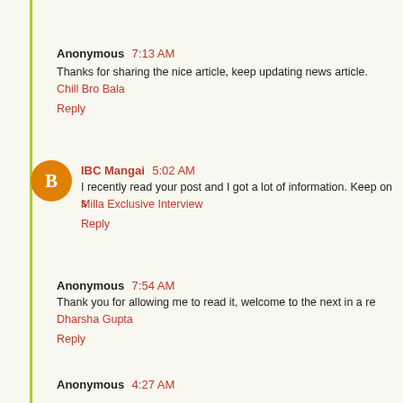Anonymous 7:13 AM
Thanks for sharing the nice article, keep updating news article.
Chill Bro Bala
Reply
IBC Mangai 5:02 AM
I recently read your post and I got a lot of information. Keep on s
Milla Exclusive Interview
Reply
Anonymous 7:54 AM
Thank you for allowing me to read it, welcome to the next in a re
Dharsha Gupta
Reply
Anonymous 4:27 AM